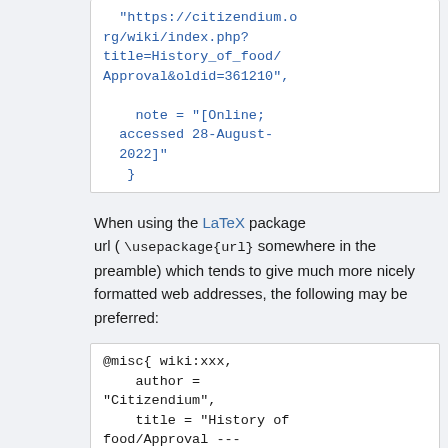"https://citizendium.org/wiki/index.php?title=History_of_food/Approval&oldid=361210",
    note = "[Online; accessed 28-August-2022]"
  }
When using the LaTeX package url ( \usepackage{url} somewhere in the preamble) which tends to give much more nicely formatted web addresses, the following may be preferred:
@misc{ wiki:xxx,
    author = "Citizendium",
    title = "History of food/Approval ---